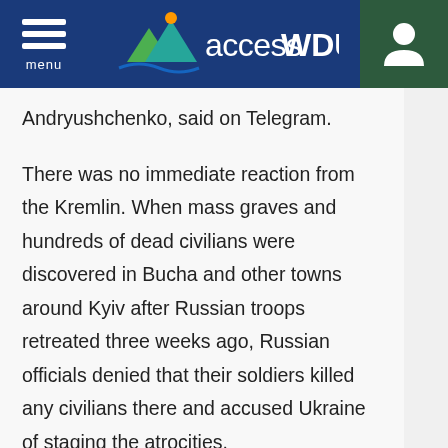accessWDUN
Andryushchenko, said on Telegram.
There was no immediate reaction from the Kremlin. When mass graves and hundreds of dead civilians were discovered in Bucha and other towns around Kyiv after Russian troops retreated three weeks ago, Russian officials denied that their soldiers killed any civilians there and accused Ukraine of staging the atrocities.
In a statement, Maxar said a review of previous images indicates that the graves in Manhush were dug in late March and expanded in recent weeks